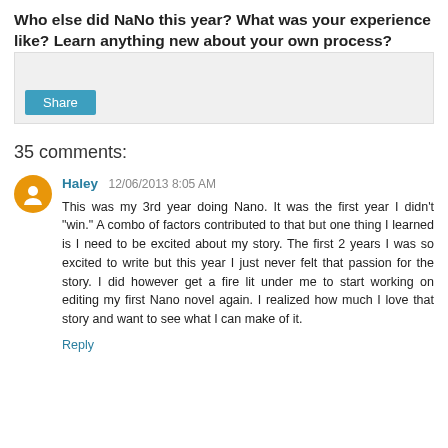Who else did NaNo this year? What was your experience like? Learn anything new about your own process?
[Figure (screenshot): A social share widget box with a 'Share' button in teal/blue color on a light grey background.]
35 comments:
Haley  12/06/2013 8:05 AM
This was my 3rd year doing Nano. It was the first year I didn't "win." A combo of factors contributed to that but one thing I learned is I need to be excited about my story. The first 2 years I was so excited to write but this year I just never felt that passion for the story. I did however get a fire lit under me to start working on editing my first Nano novel again. I realized how much I love that story and want to see what I can make of it.
Reply